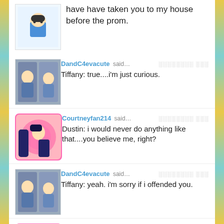have have taken you to my house before the prom.
DandC4evacute said… Tiffany: true....i'm just curious.
Courtneyfan214 said… Dustin: i would never do anything like that....you believe me, right?
DandC4evacute said… Tiffany: yeah. i'm sorry if i offended you.
Courtneyfan214 said… Dustin: it's ok.

Veronica: *arrives home*
DandC4evacute said… Tiffany: i wish there's just someway to